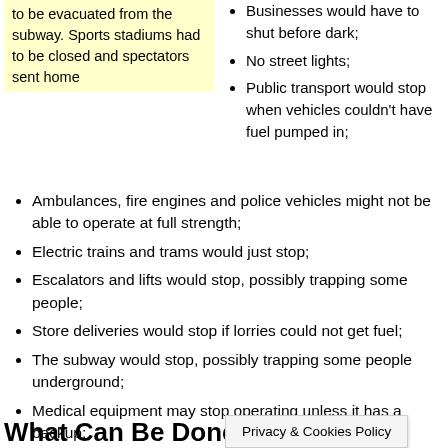to be evacuated from the subway. Sports stadiums had to be closed and spectators sent home
Businesses would have to shut before dark;
No street lights;
Public transport would stop when vehicles couldn't have fuel pumped in;
Ambulances, fire engines and police vehicles might not be able to operate at full strength;
Electric trains and trams would just stop;
Escalators and lifts would stop, possibly trapping some people;
Store deliveries would stop if lorries could not get fuel;
The subway would stop, possibly trapping some people underground;
Medical equipment may stop operating unless it has a backup;
Medical records can be lost or be unreachable when needed for medical emergencies.
What Can Be Done
Privacy & Cookies Policy